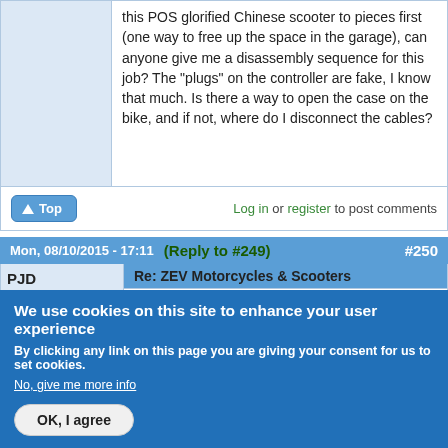this POS glorified Chinese scooter to pieces first (one way to free up the space in the garage), can anyone give me a disassembly sequence for this job? The "plugs" on the controller are fake, I know that much. Is there a way to open the case on the bike, and if not, where do I disconnect the cables?
Top
Log in or register to post comments
Mon, 08/10/2015 - 17:11   (Reply to #249)   #250
PJD
Re: ZEV Motorcycles & Scooters
Every motor controller I've seen you will need to remove the controller to open the
We use cookies on this site to enhance your user experience
By clicking any link on this page you are giving your consent for us to set cookies.
No, give me more info
OK, I agree